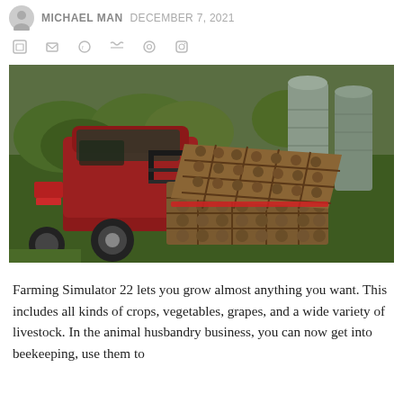MICHAEL MAN  DECEMBER 7, 2021
[Figure (screenshot): Screenshot from Farming Simulator 22 showing a red pickup truck with crates of produce in the truck bed, parked on green grass near farm silos and buildings.]
Farming Simulator 22 lets you grow almost anything you want. This includes all kinds of crops, vegetables, grapes, and a wide variety of livestock. In the animal husbandry business, you can now get into beekeeping, use them to